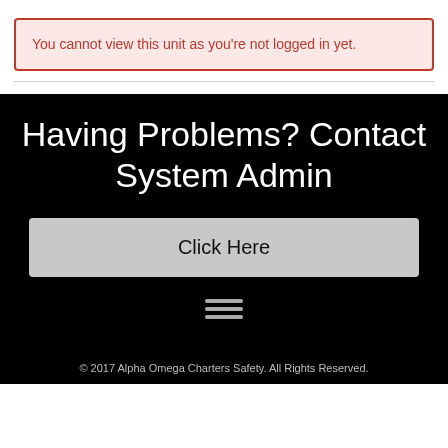You cannot view this unit as you're not logged in yet.
Having Problems? Contact System Admin
Click Here
© 2017 Alpha Omega Charters Safety. All Rights Reserved.